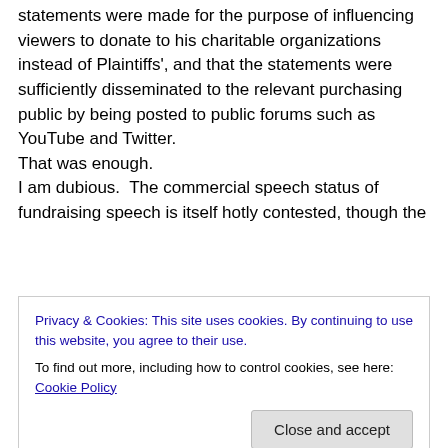statements were made for the purpose of influencing viewers to donate to his charitable organizations instead of Plaintiffs', and that the statements were sufficiently disseminated to the relevant purchasing public by being posted to public forums such as YouTube and Twitter. That was enough. I am dubious.  The commercial speech status of fundraising speech is itself hotly contested, though the
Privacy & Cookies: This site uses cookies. By continuing to use this website, you agree to their use.
To find out more, including how to control cookies, see here: Cookie Policy
speech and not inducing consumers to buy some separate